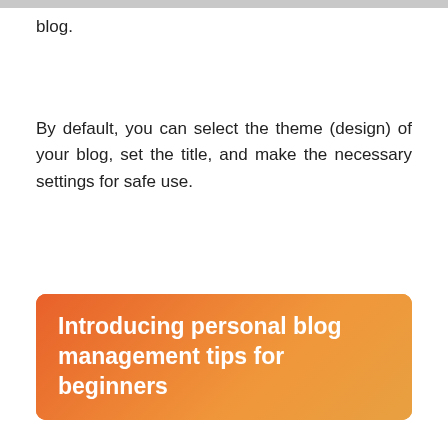blog.
By default, you can select the theme (design) of your blog, set the title, and make the necessary settings for safe use.
Introducing personal blog management tips for beginners
Next, I would like to introduce three management tips that I would like to convey to beginners when managing a blog.
Clarify the purpose and theme of the personal blog